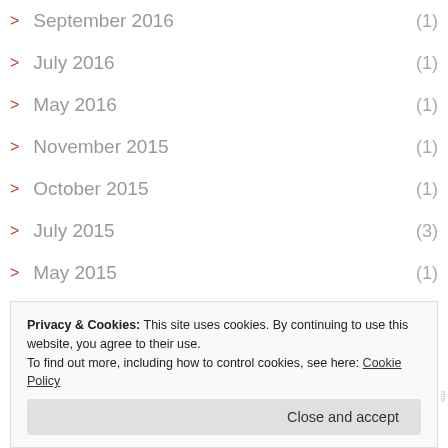> September 2016 (1)
> July 2016 (1)
> May 2016 (1)
> November 2015 (1)
> October 2015 (1)
> July 2015 (3)
> May 2015 (1)
> April 2015 (1)
Privacy & Cookies: This site uses cookies. By continuing to use this website, you agree to their use.
To find out more, including how to control cookies, see here: Cookie Policy
Close and accept